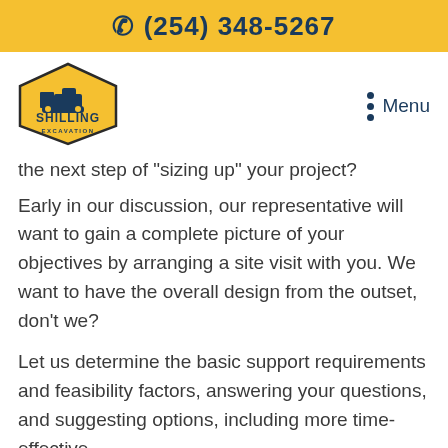☎ (254) 348-5267
[Figure (logo): Shilling Excavation hexagon logo with bulldozer icon and yellow/navy colors]
the next step of "sizing up" your project?
Early in our discussion, our representative will want to gain a complete picture of your objectives by arranging a site visit with you. We want to have the overall design from the outset, don't we?
Let us determine the basic support requirements and feasibility factors, answering your questions, and suggesting options, including more time-effective...